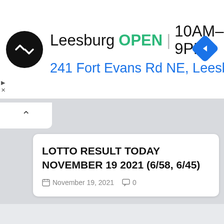[Figure (screenshot): Advertisement banner for a store in Leesburg showing logo, OPEN status, hours 10AM-9PM, address 241 Fort Evans Rd NE, Leesb, and a navigation arrow icon]
LOTTO RESULT TODAY NOVEMBER 19 2021 (6/58, 6/45)
November 19, 2021   0